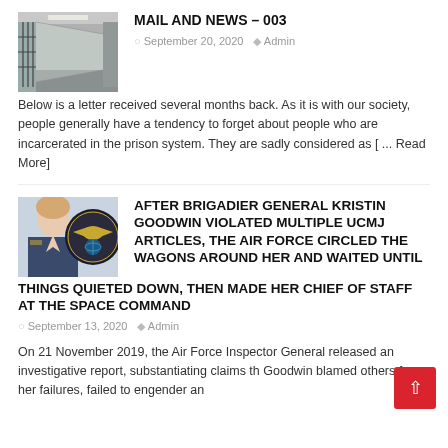MAIL AND NEWS – 003
September 20, 2020  Admin
Below is a letter received several months back. As it is with our society, people generally have a tendency to forget about people who are incarcerated in the prison system. They are sadly considered as [ ... Read More]
AFTER BRIGADIER GENERAL KRISTIN GOODWIN VIOLATED MULTIPLE UCMJ ARTICLES, THE AIR FORCE CIRCLED THE WAGONS AROUND HER AND WAITED UNTIL THINGS QUIETED DOWN, THEN MADE HER CHIEF OF STAFF AT THE SPACE COMMAND
September 13, 2020  Admin
On 21 November 2019, the Air Force Inspector General released an investigative report, substantiating claims th Goodwin blamed others for her failures, failed to engender an
[Figure (photo): Prison corridor photo showing cell bars and hallway]
[Figure (photo): Portrait of Brigadier General Kristin Goodwin next to a military seal]